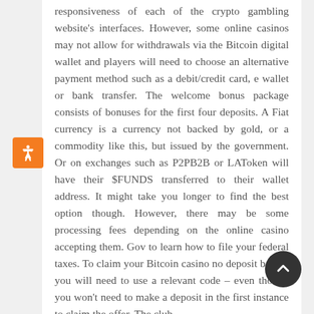responsiveness of each of the crypto gambling website's interfaces. However, some online casinos may not allow for withdrawals via the Bitcoin digital wallet and players will need to choose an alternative payment method such as a debit/credit card, e wallet or bank transfer. The welcome bonus package consists of bonuses for the first four deposits. A Fiat currency is a currency not backed by gold, or a commodity like this, but issued by the government. Or on exchanges such as P2PB2B or LAToken will have their $FUNDS transferred to their wallet address. It might take you longer to find the best option though. However, there may be some processing fees depending on the online casino accepting them. Gov to learn how to file your federal taxes. To claim your Bitcoin casino no deposit bonus, you will need to use a relevant code – even though you won't need to make a deposit in the first instance to claim the offer. The club